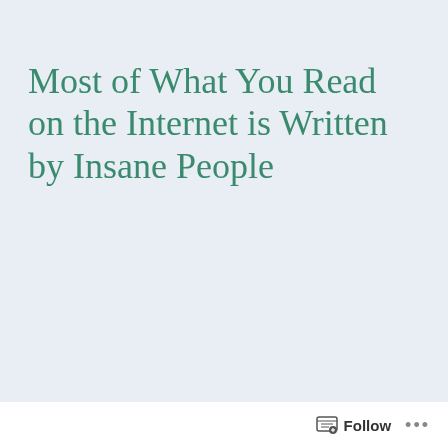Most of What You Read on the Internet is Written by Insane People
[Figure (illustration): XKCD comic strip showing a stick figure in bed asking 'ARE YOU COMING TO BED?' and another figure responding 'I CAN'T. THIS IS IMPORTANT.' followed by 'WHAT?' and 'SOMEONE IS WRONG ON THE INTERNET.']
Follow ...